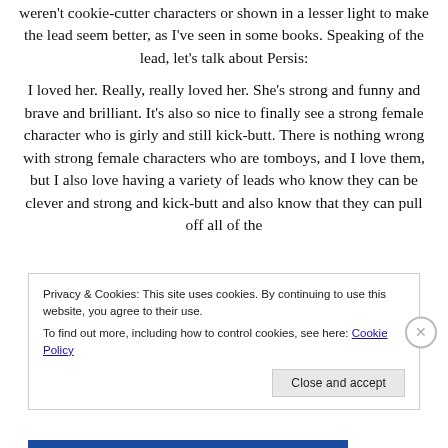weren't cookie-cutter characters or shown in a lesser light to make the lead seem better, as I've seen in some books. Speaking of the lead, let's talk about Persis:
I loved her. Really, really loved her. She's strong and funny and brave and brilliant. It's also so nice to finally see a strong female character who is girly and still kick-butt. There is nothing wrong with strong female characters who are tomboys, and I love them, but I also love having a variety of leads who know they can be clever and strong and kick-butt and also know that they can pull off all of the
Privacy & Cookies: This site uses cookies. By continuing to use this website, you agree to their use.
To find out more, including how to control cookies, see here: Cookie Policy